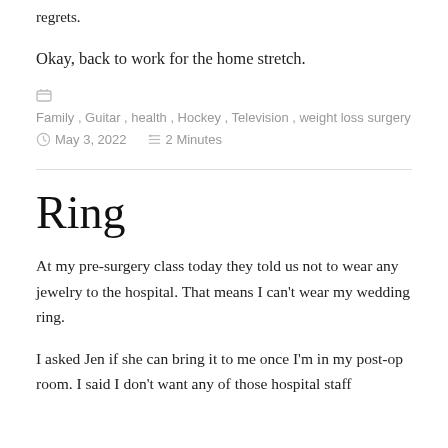regrets.
Okay, back to work for the home stretch.
Family, Guitar, health, Hockey, Television, weight loss surgery
May 3, 2022  2 Minutes
Ring
At my pre-surgery class today they told us not to wear any jewelry to the hospital. That means I can't wear my wedding ring.
I asked Jen if she can bring it to me once I'm in my post-op room. I said I don't want any of those hospital staff